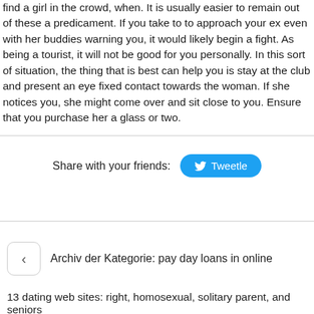find a girl in the crowd, when. It is usually easier to remain out of these a predicament. If you take to to approach your ex even with her buddies warning you, it would likely begin a fight. As being a tourist, it will not be good for you personally. In this sort of situation, the thing that is best can help you is stay at the club and present an eye fixed contact towards the woman. If she notices you, she might come over and sit close to you. Ensure that you purchase her a glass or two.
Share with your friends:
Archiv der Kategorie: pay day loans in online
13 dating web sites: right, homosexual, solitary parent, and seniors